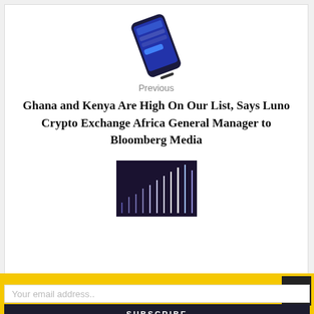[Figure (photo): A smartphone showing the Luno crypto exchange app interface, tilted at an angle on a white background.]
Previous
Ghana and Kenya Are High On Our List, Says Luno Crypto Exchange Africa General Manager to Bloomberg Media
[Figure (photo): A dark background image showing a bar/candlestick chart with glowing upward bars representing cryptocurrency or stock market data.]
Don't Miss a Thing! Subscribe to our Weekly Newsletter
Your email address..
SUBSCRIBE